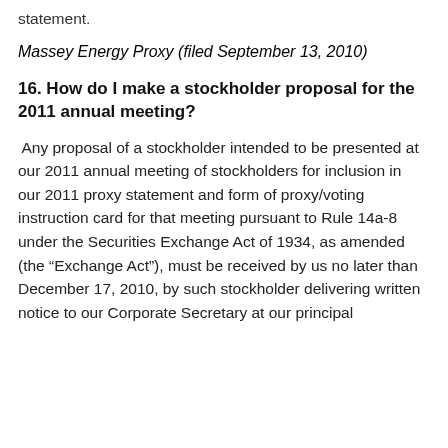statement.
Massey Energy Proxy (filed September 13, 2010)
16. How do I make a stockholder proposal for the 2011 annual meeting?
Any proposal of a stockholder intended to be presented at our 2011 annual meeting of stockholders for inclusion in our 2011 proxy statement and form of proxy/voting instruction card for that meeting pursuant to Rule 14a-8 under the Securities Exchange Act of 1934, as amended (the “Exchange Act”), must be received by us no later than December 17, 2010, by such stockholder delivering written notice to our Corporate Secretary at our principal